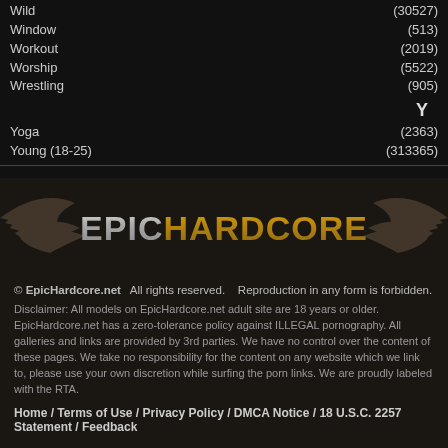Wild (30527)
Window (513)
Workout (2019)
Worship (5522)
Wrestling (905)
Y
Yoga (2363)
Young (18-25) (313365)
[Figure (logo): EpicHardcore logo with silver EPIC and gold HARDCORE text, decorative wings in background]
© EpicHardcore.net  All rights reserved.   Reproduction in any form is forbidden.
Disclaimer: All models on EpicHardcore.net adult site are 18 years or older. EpicHardcore.net has a zero-tolerance policy against ILLEGAL pornography. All galleries and links are provided by 3rd parties. We have no control over the content of these pages. We take no responsibility for the content on any website which we link to, please use your own discretion while surfing the porn links. We are proudly labeled with the RTA.
Home / Terms of Use / Privacy Policy / DMCA Notice / 18 U.S.C. 2257 Statement / Feedback